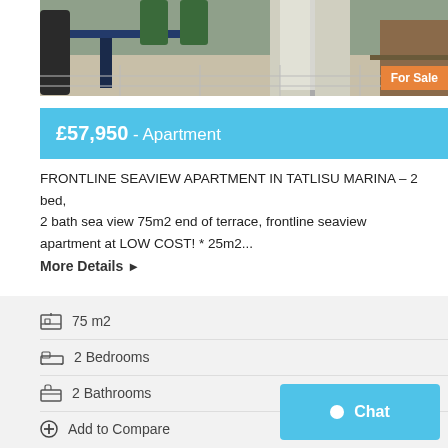[Figure (photo): Interior photo of an apartment showing tiled floor, table, green chairs and curtains. Orange 'For Sale' badge in bottom-right corner of image.]
£57,950 - Apartment
FRONTLINE SEAVIEW APARTMENT IN TATLISU MARINA – 2 bed, 2 bath sea view 75m2 end of terrace, frontline seaview apartment at LOW COST! * 25m2...
More Details ▶
75 m2
2 Bedrooms
2 Bathrooms
Add to Compare